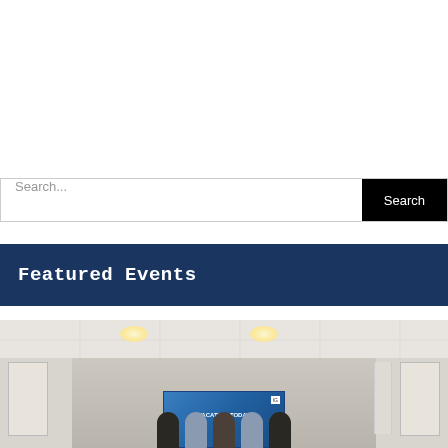[Figure (screenshot): White empty area at top of webpage]
Search...
Featured Events
[Figure (photo): Indoor room photo showing people standing in front of a blue banner/sign, with recessed ceiling lights and white walls]